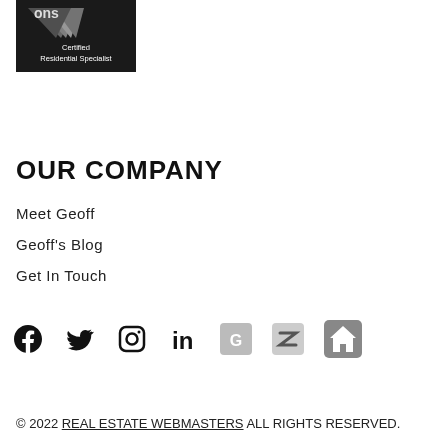[Figure (logo): CRS Certified Residential Specialist badge/logo on dark background with striped house graphic and text 'Certified Residential Specialist']
OUR COMPANY
Meet Geoff
Geoff's Blog
Get In Touch
[Figure (infographic): Social media icons row: Facebook, Twitter, Instagram, LinkedIn, Google, Zillow (Z), Trulia (house icon)]
© 2022 REAL ESTATE WEBMASTERS ALL RIGHTS RESERVED.